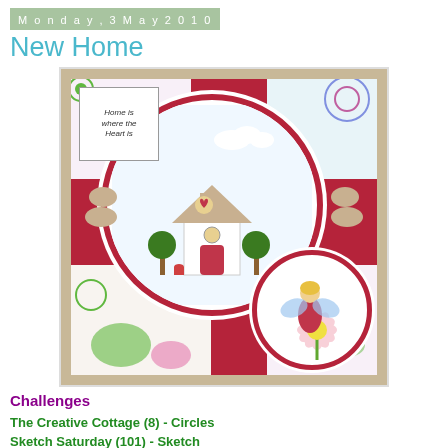Monday, 3 May 2010
New Home
[Figure (photo): A handmade greeting card with a 'New Home' theme. The card features a crimson/dark red background with patterned scrapbook paper sections showing colorful flowers. A large scalloped circle contains an illustration of a cute cottage with a heart on the roof, red door, topiary trees, and clouds. A smaller scalloped circle in the lower right contains a fairy sitting on a daisy flower. There is also a small tag reading 'Home is where the Heart is'.]
Challenges
The Creative Cottage (8) - Circles
Sketch Saturday (101) - Sketch
Creative Inspirations (33) - Congratulations (New Home)